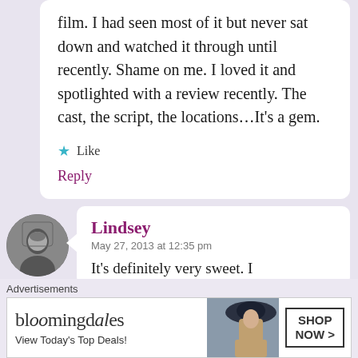film. I had seen most of it but never sat down and watched it through until recently. Shame on me. I loved it and spotlighted with a review recently. The cast, the script, the locations...It's a gem.
★ Like
Reply
Lindsey
May 27, 2013 at 12:35 pm
It's definitely very sweet. I
[Figure (photo): Circular avatar photo in black and white showing a person]
Advertisements
[Figure (screenshot): Bloomingdale's advertisement banner with logo, 'View Today's Top Deals!' tagline, model with hat, and 'SHOP NOW >' button]